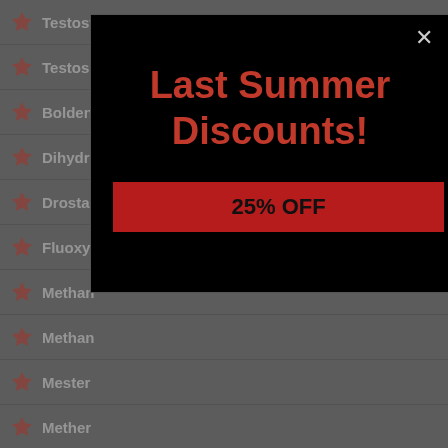Testosterone Undecanoate -25%
Testoste...
Bolden...
Dihydr...
Drosta...
Fluoxy...
Methan...
Methan...
Mester...
Mether...
Methyl...
Methyldrostanolone -25%
Methyltrienolone -25%
Mibolerone -25%
Nandrolone (Deca) -25%
Oxandrolone (Anavar) ...
[Figure (infographic): Modal popup with black background showing 'Last Summer Discounts!' in red text and a '25% OFF' red button, with an X close button in the top right corner.]